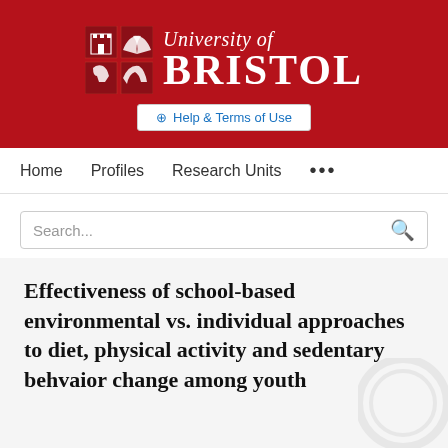[Figure (logo): University of Bristol crest and wordmark logo on a dark red background]
Help & Terms of Use
Home   Profiles   Research Units   ...
Search...
Effectiveness of school-based environmental vs. individual approaches to diet, physical activity and sedentary behvaior change among youth